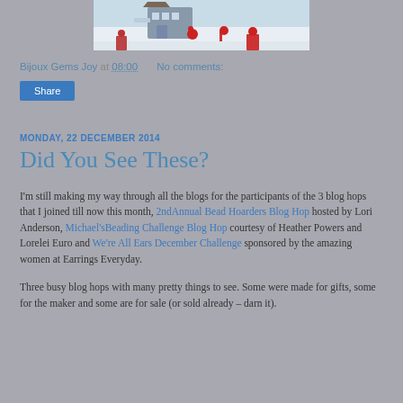[Figure (photo): Partial top image showing a winter/Christmas snow scene with figurines and a building, cropped at the top of the page]
Bijoux Gems Joy at 08:00   No comments:
Share
MONDAY, 22 DECEMBER 2014
Did You See These?
I'm still making my way through all the blogs for the participants of the 3 blog hops that I joined till now this month, 2ndAnnual Bead Hoarders Blog Hop hosted by Lori Anderson, Michael'sBeading Challenge Blog Hop courtesy of Heather Powers and Lorelei Euro and We're All Ears December Challenge sponsored by the amazing women at Earrings Everyday.
Three busy blog hops with many pretty things to see. Some were made for gifts, some for the maker and some are for sale (or sold already – darn it).